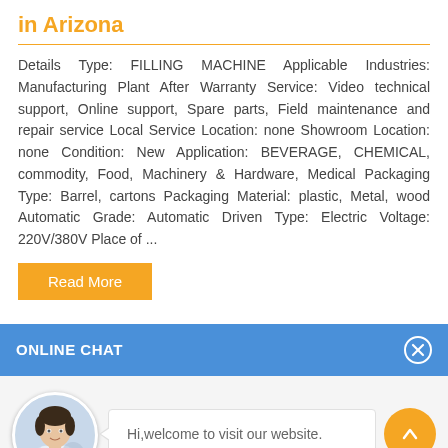in Arizona
Details Type: FILLING MACHINE Applicable Industries: Manufacturing Plant After Warranty Service: Video technical support, Online support, Spare parts, Field maintenance and repair service Local Service Location: none Showroom Location: none Condition: New Application: BEVERAGE, CHEMICAL, commodity, Food, Machinery & Hardware, Medical Packaging Type: Barrel, cartons Packaging Material: plastic, Metal, wood Automatic Grade: Automatic Driven Type: Electric Voltage: 220V/380V Place of ...
Read More
ONLINE CHAT
[Figure (photo): Avatar photo of chat agent named Cilina]
Hi,welcome to visit our website.